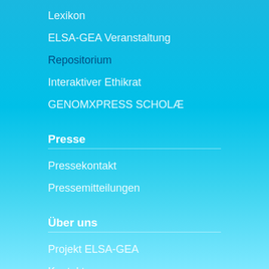Lexikon
ELSA-GEA Veranstaltung
Repositorium
Interaktiver Ethikrat
GENOMXPRESS SCHOLÆ
Presse
Pressekontakt
Pressemitteilungen
Über uns
Projekt ELSA-GEA
Kontakt
Impressum
Datenschutz